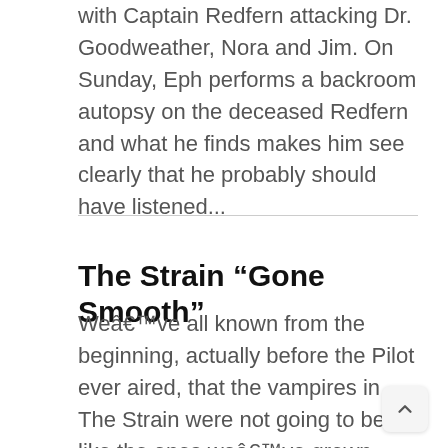with Captain Redfern attacking Dr. Goodweather, Nora and Jim. On Sunday, Eph performs a backroom autopsy on the deceased Redfern and what he finds makes him see clearly that he probably should have listened...
The Strain “Gone Smooth”
We’ve all known from the beginning, actually before the Pilot ever aired, that the vampires in The Strain were not going to be like the ones we’ve grown accustomed to over the past few years. These are ugly, disgusting creatures, certainly not ones you’d want to get cozy an romantic